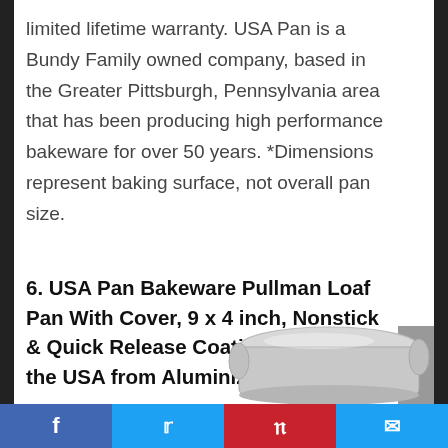limited lifetime warranty. USA Pan is a Bundy Family owned company, based in the Greater Pittsburgh, Pennsylvania area that has been producing high performance bakeware for over 50 years. *Dimensions represent baking surface, not overall pan size.
6. USA Pan Bakeware Pullman Loaf Pan With Cover, 9 x 4 inch, Nonstick & Quick Release Coating, Made in the USA from Aluminized Steel
[Figure (photo): Partial view of a silver/grey Pullman loaf pan with cover, shown from above at an angle, partially cropped at the bottom of the page.]